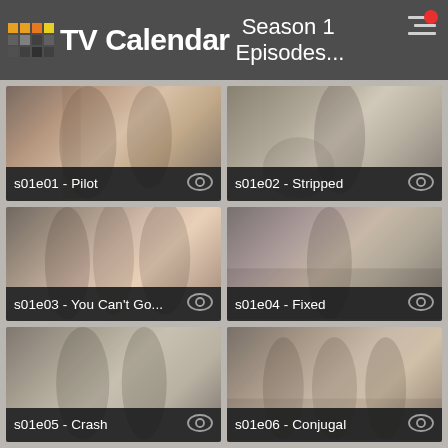TV Calendar — Season 1 Episodes...
[Figure (screenshot): Episode thumbnail for s01e01 - Pilot showing two people in a hallway]
s01e01 - Pilot
[Figure (screenshot): Episode thumbnail for s01e02 - Stripped showing a young woman]
s01e02 - Stripped
[Figure (screenshot): Episode thumbnail for s01e03 - You Can't Go... showing three people]
s01e03 - You Can't Go...
[Figure (screenshot): Episode thumbnail for s01e04 - Fixed showing a person holding a book in a courtroom]
s01e04 - Fixed
[Figure (screenshot): Episode thumbnail for s01e05 - Crash showing two people facing each other]
s01e05 - Crash
[Figure (screenshot): Episode thumbnail for s01e06 - Conjugal showing a group of people around a table]
s01e06 - Conjugal